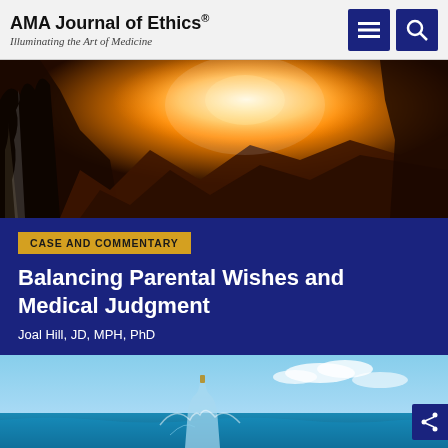AMA Journal of Ethics® Illuminating the Art of Medicine
[Figure (photo): Dramatic rocky canyon with orange fiery glow and bright sunlight, dark silhouetted rocks]
CASE AND COMMENTARY
Balancing Parental Wishes and Medical Judgment
Joal Hill, JD, MPH, PhD
[Figure (photo): Glass bottle with cork floating or splashing in blue water with sky background]